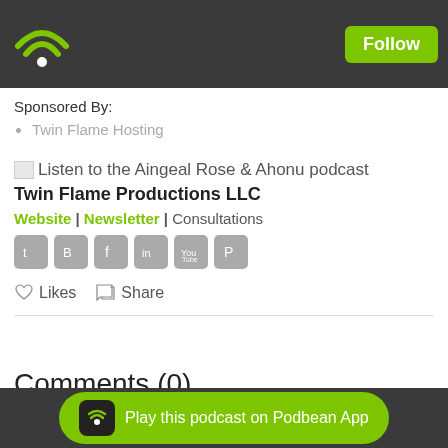[Figure (logo): Podbean wifi/podcast logo in green on dark grey header bar]
Follow
Sponsored By:
Twin Flame Hosting
[Figure (illustration): Listen to the Aingeal Rose & Ahonu podcast image placeholder]
Twin Flame Productions LLC
Website | Newsletter | Consultations
[Figure (illustration): Social media icons: Twitter, Blogger, Facebook, LinkedIn, YouTube, Pinterest]
Likes   Share
Comments (0)
To leave or reply comments, please download free Podbean App.
[Figure (logo): Play this podcast on Podbean App button at bottom]